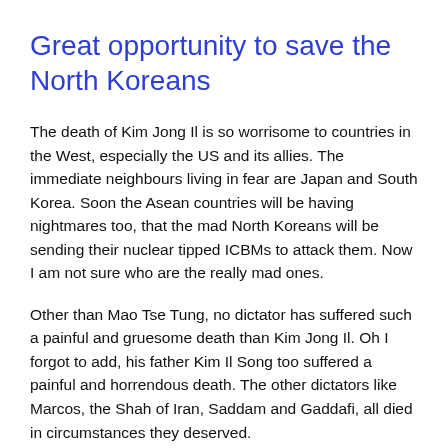Great opportunity to save the North Koreans
The death of Kim Jong Il is so worrisome to countries in the West, especially the US and its allies. The immediate neighbours living in fear are Japan and South Korea. Soon the Asean countries will be having nightmares too, that the mad North Koreans will be sending their nuclear tipped ICBMs to attack them. Now I am not sure who are the really mad ones.
Other than Mao Tse Tung, no dictator has suffered such a painful and gruesome death than Kim Jong Il. Oh I forgot to add, his father Kim Il Song too suffered a painful and horrendous death. The other dictators like Marcos, the Shah of Iran, Saddam and Gaddafi, all died in circumstances they deserved.
Why are the two Kims different, that the North Koreans are all mourning for their deaths and would even built